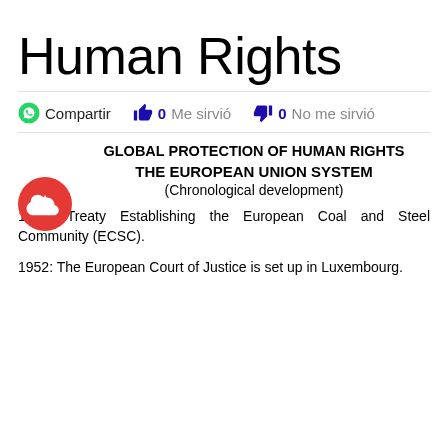Human Rights
🟢 Compartir   👍 0 Me sirvió   👎 0 No me sirvió
GLOBAL PROTECTION OF HUMAN RIGHTS
THE EUROPEAN UNION SYSTEM
(Chronological development)
1951: Treaty Establishing the European Coal and Steel Community (ECSC).
1952: The European Court of Justice is set up in Luxembourg.